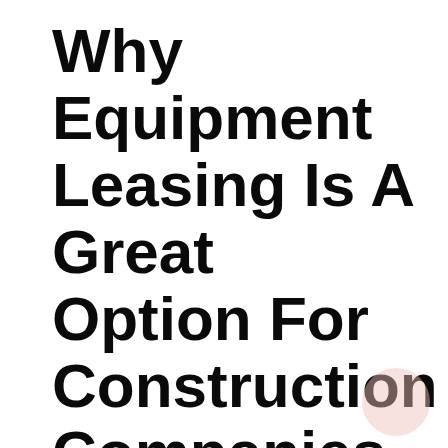Why Equipment Leasing Is A Great Option For Construction Companies